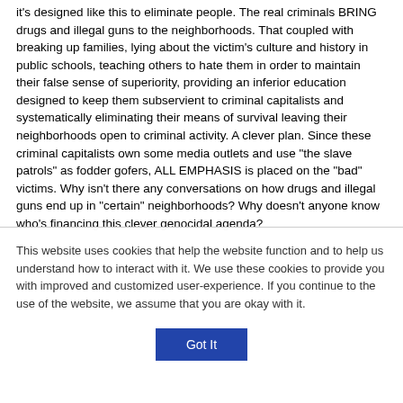it's designed like this to eliminate people. The real criminals BRING drugs and illegal guns to the neighborhoods. That coupled with breaking up families, lying about the victim's culture and history in public schools, teaching others to hate them in order to maintain their false sense of superiority, providing an inferior education designed to keep them subservient to criminal capitalists and systematically eliminating their means of survival leaving their neighborhoods open to criminal activity. A clever plan. Since these criminal capitalists own some media outlets and use "the slave patrols" as fodder gofers, ALL EMPHASIS is placed on the "bad" victims. Why isn't there any conversations on how drugs and illegal guns end up in "certain" neighborhoods? Why doesn't anyone know who's financing this clever genocidal agenda?
This website uses cookies that help the website function and to help us understand how to interact with it. We use these cookies to provide you with improved and customized user-experience. If you continue to the use of the website, we assume that you are okay with it.